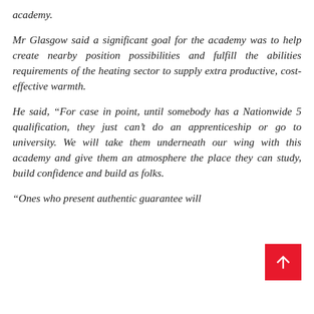academy.
Mr Glasgow said a significant goal for the academy was to help create nearby position possibilities and fulfill the abilities requirements of the heating sector to supply extra productive, cost-effective warmth.
He said, “For case in point, until somebody has a Nationwide 5 qualification, they just can’t do an apprenticeship or go to university. We will take them underneath our wing with this academy and give them an atmosphere the place they can study, build confidence and build as folks.
“Ones who present authentic guarantee will